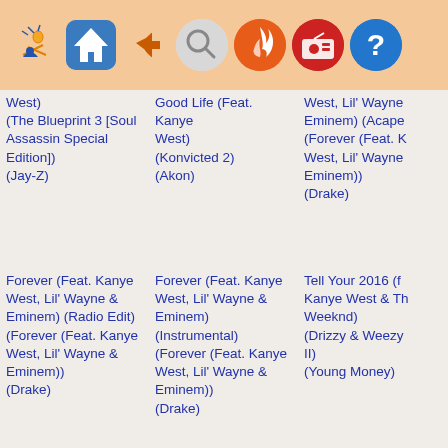[Figure (screenshot): Navigation toolbar with icons: figure/logo, home, back arrow, search, fire/trending, radio, help]
West)
(The Blueprint 3 [Soul Assassin Special Edition])
(Jay-Z)
Good Life (Feat. Kanye West)
(Konvicted 2)
(Akon)
West, Lil' Wayne Eminem) (Acape
(Forever (Feat. K West, Lil' Wayne Eminem))
(Drake)
Forever (Feat. Kanye West, Lil' Wayne & Eminem) (Radio Edit)
(Forever (Feat. Kanye West, Lil' Wayne & Eminem))
(Drake)
Forever (Feat. Kanye West, Lil' Wayne & Eminem) (Instrumental)
(Forever (Feat. Kanye West, Lil' Wayne & Eminem))
(Drake)
Tell Your 2016 (f Kanye West & Th Weeknd)
(Drizzy & Weezy II)
(Young Money)